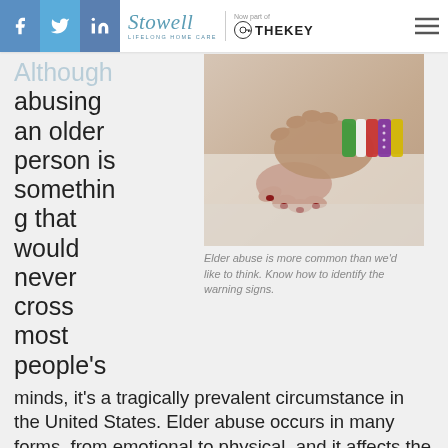Stowell | Now part of TheKey
Although abusing an older person is something that would never cross most people's minds, it's a tragically prevalent circumstance in the United States. Elder abuse occurs in many forms, from emotional to physical, and it affects the most frail and vulnerable among us.
[Figure (photo): Close-up of two elderly hands clasped together, with colorful hospital wristbands (green, white, red, purple, yellow) on one wrist, resting on a white surface.]
Elder abuse is more common than we'd like to think. Know how to identify the warning signs.